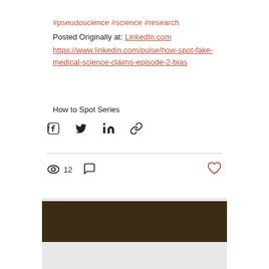#pseudoscience #science #research
Posted Originally at: LinkedIn.com
https://www.linkedin.com/pulse/how-spot-fake-medical-science-claims-episode-2-bias
How to Spot Series
[Figure (screenshot): Share buttons row with Facebook, Twitter, LinkedIn icons and a link icon]
[Figure (screenshot): Stats row showing 12 views, comment icon, and a heart (like) button on the right]
[Figure (screenshot): Card preview image with a dark brown band header and light gray body area below]